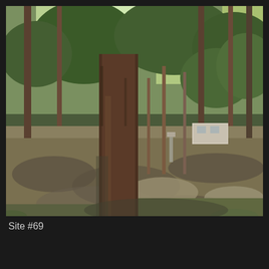[Figure (photo): Outdoor campsite photo showing a wooded area with tall pine and oak trees casting dappled shadows on a dirt/gravel ground. A picnic table is visible on the left side, and what appears to be an RV or trailer is partially visible in the background through the trees. The scene depicts a shaded campground site.]
Site #69